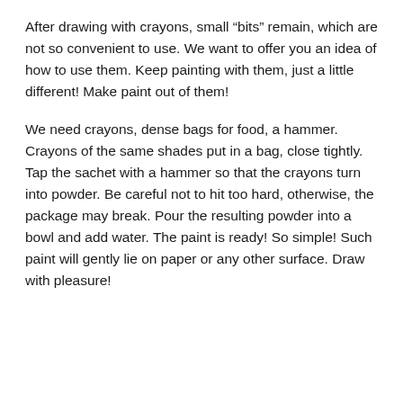After drawing with crayons, small “bits” remain, which are not so convenient to use. We want to offer you an idea of how to use them. Keep painting with them, just a little different! Make paint out of them!
We need crayons, dense bags for food, a hammer. Crayons of the same shades put in a bag, close tightly. Tap the sachet with a hammer so that the crayons turn into powder. Be careful not to hit too hard, otherwise, the package may break. Pour the resulting powder into a bowl and add water. The paint is ready! So simple! Such paint will gently lie on paper or any other surface. Draw with pleasure!